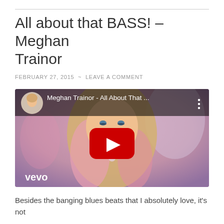All about that BASS! – Meghan Trainor
FEBRUARY 27, 2015  ~  LEAVE A COMMENT
[Figure (screenshot): YouTube video embed showing Meghan Trainor - All About That Bass music video thumbnail with play button and vevo watermark]
Besides the banging blues beats that I absolutely love, it's not